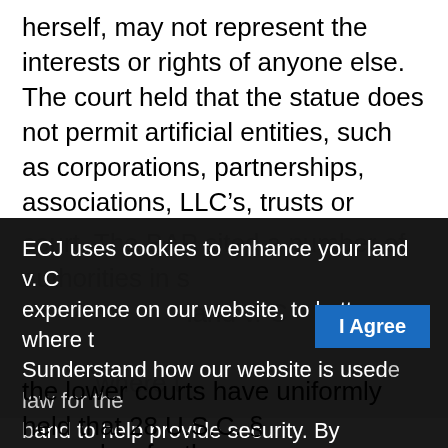herself, may not represent the interests or rights of anyone else. The court held that the statue does not permit artificial entities, such as corporations, partnerships, associations, LLC’s, trusts or estates to prosecute or defend in federal court except through an attorney, admitted to practice in that particular court. The BAP cited a number of authorities in support of its decision, including Portland v. C... experience on our website, to better where t... Sunderstand how our website is used law for the b and to help provide security. By using orporation may a our website you agree to our use of ough licensed c cookies. For more information see our the rationale f Privacy Policy and our Terms of Use ficial entities... the lower courts have uniformly held that 28 U.S.C. §
ECJ uses cookies to enhance your experience on our website, to better understand how our website is used and to help provide security. By using our website you agree to our use of cookies. For more information see our Privacy Policy and our Terms of Use.